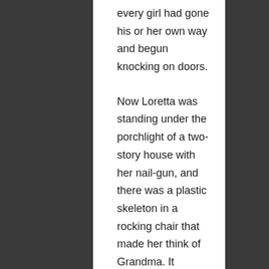every girl had gone his or her own way and begun knocking on doors.
Now Loretta was standing under the porchlight of a two-story house with her nail-gun, and there was a plastic skeleton in a rocking chair that made her think of Grandma. It occurred to her that she should pay Grandma a visit before the night was over. Then she knocked on the door.
In the distance, a woman screamed. Then choked. Then fell silent.